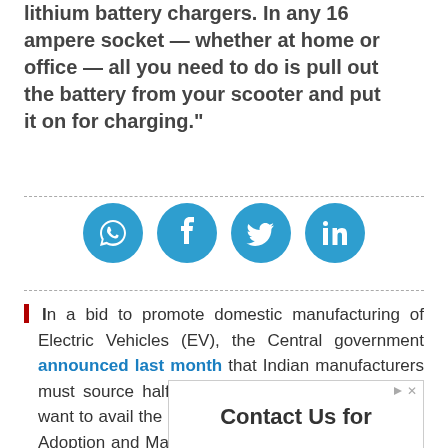lithium battery chargers. In any 16 ampere socket — whether at home or office — all you need to do is pull out the battery from your scooter and put it on for charging."
[Figure (infographic): Social media sharing icons: WhatsApp, Facebook, Twitter, LinkedIn — blue circles with white icons]
In a bid to promote domestic manufacturing of Electric Vehicles (EV), the Central government announced last month that Indian manufacturers must source half their components locally if they want to avail the benefits it offers under the Faster Adoption and Manufacturing of Hybrid and Electric Vehicles Scheme.
[Figure (infographic): Advertisement box with play/close icons and heading 'Contact Us for']